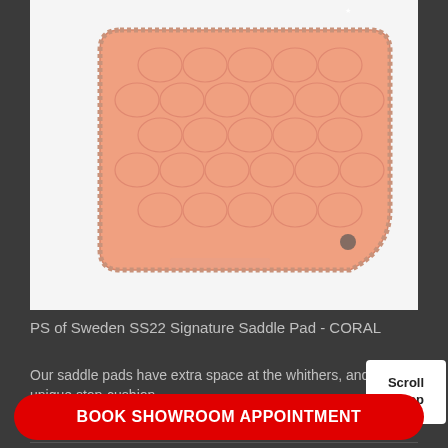[Figure (photo): PS of Sweden SS22 Signature Saddle Pad in coral/salmon color, showing quilted diamond pattern with rope trim border, photographed from above on white background]
PS of Sweden SS22 Signature Saddle Pad - CORAL
Our saddle pads have extra space at the whithers, and our unique stop-cushion...
£90.00
Scroll to top
BOOK SHOWROOM APPOINTMENT